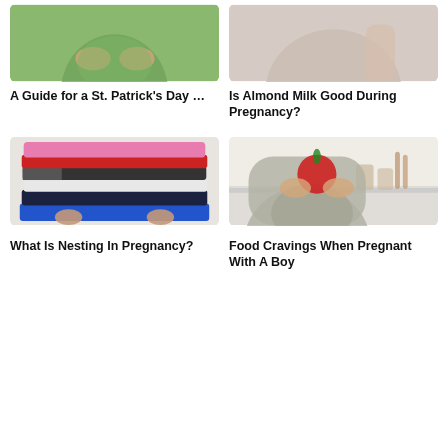[Figure (photo): Pregnant woman in green dress holding belly, top portion cropped]
A Guide for a St. Patrick's Day …
[Figure (photo): Close-up of pregnant belly, neutral background, top portion cropped]
Is Almond Milk Good During Pregnancy?
[Figure (photo): Stack of colorful folded clothes — pink, red, white, dark navy, blue]
What Is Nesting In Pregnancy?
[Figure (photo): Pregnant woman in grey shirt holding a red apple in kitchen]
Food Cravings When Pregnant With A Boy